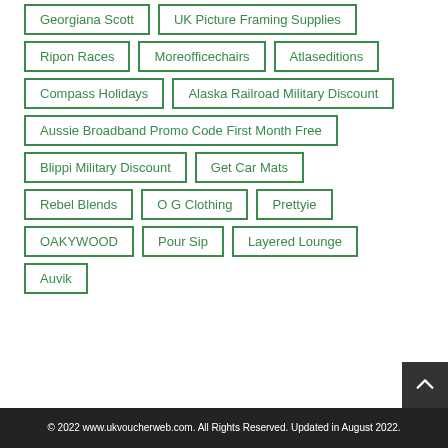Georgiana Scott
UK Picture Framing Supplies
Ripon Races
Moreofficechairs
Atlaseditions
Compass Holidays
Alaska Railroad Military Discount
Aussie Broadband Promo Code First Month Free
Blippi Military Discount
Get Car Mats
Rebel Blends
O G Clothing
Prettyie
OAKYWOOD
Pour Sip
Layered Lounge
Auvik
© 2022 www.ukvoucherweb.com. All Rights Reserved. Updated in August 2022.